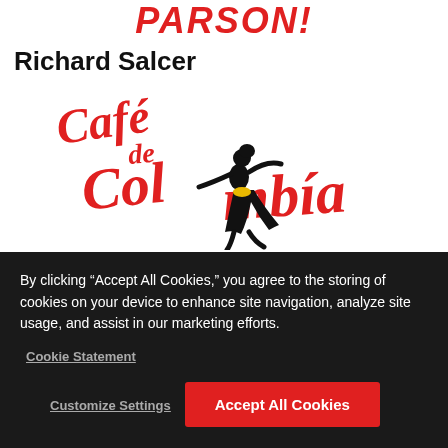[Figure (logo): PARSON! logo in bold red italic uppercase text]
Richard Salcer
[Figure (logo): Café de Colombia logo with red script lettering and black silhouette of a woman dancing with yellow accent]
By clicking “Accept All Cookies,” you agree to the storing of cookies on your device to enhance site navigation, analyze site usage, and assist in our marketing efforts.
Cookie Statement
Customize Settings
Accept All Cookies